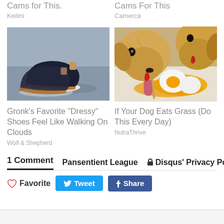Cams for This.
Keilini
Cams For This
Camerca
[Figure (photo): Dark navy sneakers with orange accents and white sole on a grey surface]
Gronk's Favorite "Dressy" Shoes Feel Like Walking On Clouds
Wolf & Shepherd
[Figure (photo): Two golden retriever puppies licking a food item with egg yolk on a plate]
If Your Dog Eats Grass (Do This Every Day)
NutraThrive
1 Comment   Pansentient League   🔒 Disqus' Privacy Policy
♡ Favorite   Tweet   Share